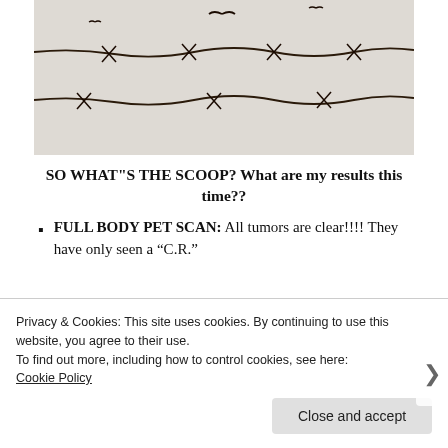[Figure (photo): Black and white photograph of barbed wire strands with birds silhouettes in the background, giving a stark, gritty appearance.]
SO WHAT"S THE SCOOP? What are my results this time??
FULL BODY PET SCAN:  All tumors are clear!!!! They have only seen a “C.R.”
Privacy & Cookies: This site uses cookies. By continuing to use this website, you agree to their use.
To find out more, including how to control cookies, see here:
Cookie Policy
Close and accept